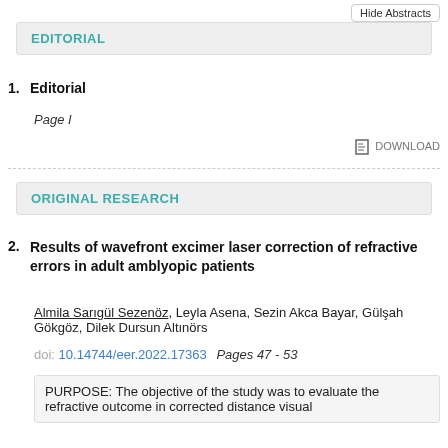Hide Abstracts
EDITORIAL
1. Editorial
Page I
DOWNLOAD
ORIGINAL RESEARCH
2. Results of wavefront excimer laser correction of refractive errors in adult amblyopic patients
Almila Sarıgül Sezenöz, Leyla Asena, Sezin Akca Bayar, Gülşah Gökgöz, Dilek Dursun Altınörs
doi: 10.14744/eer.2022.17363  Pages 47 - 53
PURPOSE: The objective of the study was to evaluate the refractive outcome in corrected distance visual